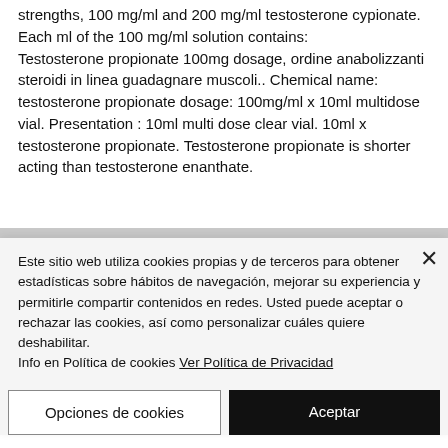strengths, 100 mg/ml and 200 mg/ml testosterone cypionate. Each ml of the 100 mg/ml solution contains: Testosterone propionate 100mg dosage, ordine anabolizzanti steroidi in linea guadagnare muscoli.. Chemical name: testosterone propionate dosage: 100mg/ml x 10ml multidose vial. Presentation : 10ml multi dose clear vial. 10ml x testosterone propionate. Testosterone propionate is shorter acting than testosterone enanthate. [partially obscured]
Este sitio web utiliza cookies propias y de terceros para obtener estadísticas sobre hábitos de navegación, mejorar su experiencia y permitirle compartir contenidos en redes. Usted puede aceptar o rechazar las cookies, así como personalizar cuáles quiere deshabilitar.
Info en Política de cookies Ver Política de Privacidad
Opciones de cookies
Aceptar